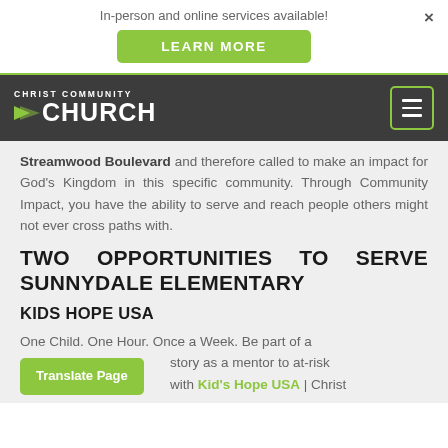In-person and online services available!
LEARN MORE
CHRIST COMMUNITY CHURCH
Streamwood Boulevard and therefore called to make an impact for God's Kingdom in this specific community. Through Community Impact, you have the ability to serve and reach people others might not ever cross paths with.
TWO OPPORTUNITIES TO SERVE SUNNYDALE ELEMENTARY
KIDS HOPE USA
One Child. One Hour. Once a Week. Be part of a story as a mentor to at-risk with Kid's Hope USA | Christ